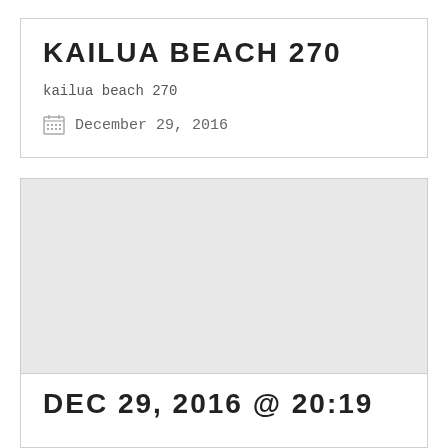KAILUA BEACH 270
kailua beach 270
December 29, 2016
[Figure (photo): Light gray placeholder image block]
DEC 29, 2016 @ 20:19